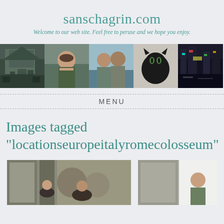sanschagrin.com
Welcome to our web site. Feel free to peruse and we hope you enjoy.
[Figure (photo): Banner strip of 5 photos: a house/building exterior, a young woman with glasses, two people at the beach, a black cat, and a city street at night with bright signs]
MENU
Images tagged "locationseuropeitalyromecolosseum"
[Figure (photo): Two partial photos at the bottom: left shows people on a street scene, right shows a stone or brick wall with a person partially visible]